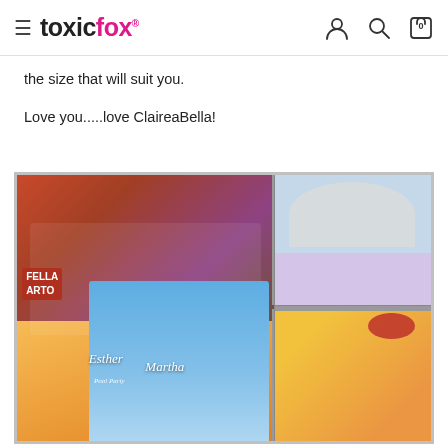toxicfox® [hamburger menu, user, search, cart icons]
the size that will suit you.

Love you.....love ClaireaBella!
[Figure (photo): Collage of four photos showing people holding personalized ClaireaBella beach towels. Left large photo: a man and two women holding towels with 'FELLA ARTO', 'Esther Pool Party', and 'Martha' designs in front of a flower background. Top right: a woman sitting by a pool with a ClaireaBella character towel. Bottom right: a young girl with a red bow wrapped in a gold sequin ClaireaBella towel.]